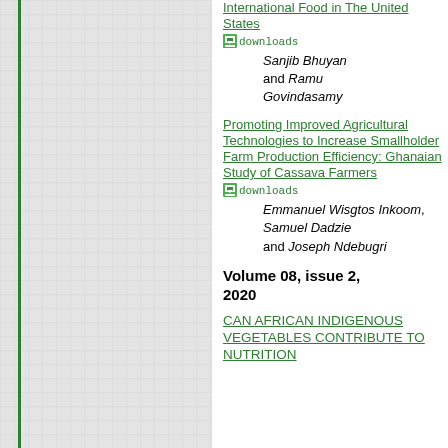[Figure (other): Left panel with gray grid/graph paper background and green vertical border lines]
International Food in The United States downloads
Sanjib Bhuyan and Ramu Govindasamy
Promoting Improved Agricultural Technologies to Increase Smallholder Farm Production Efficiency: Ghanaian Study of Cassava Farmers downloads
Emmanuel Wisgtos Inkoom, Samuel Dadzie and Joseph Ndebugri
Volume 08, issue 2, 2020
CAN AFRICAN INDIGENOUS VEGETABLES CONTRIBUTE TO NUTRITION